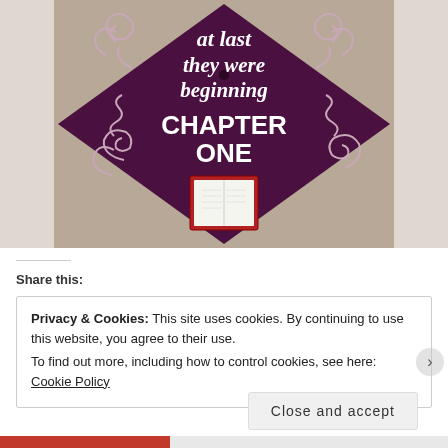[Figure (photo): A decorated purple graduation cap top with white decorative swirl designs and text reading 'at last they were beginning CHAPTER ONE', with a small open book attached at the bottom center, placed on a wooden surface.]
Share this:
Privacy & Cookies: This site uses cookies. By continuing to use this website, you agree to their use.
To find out more, including how to control cookies, see here: Cookie Policy
Close and accept